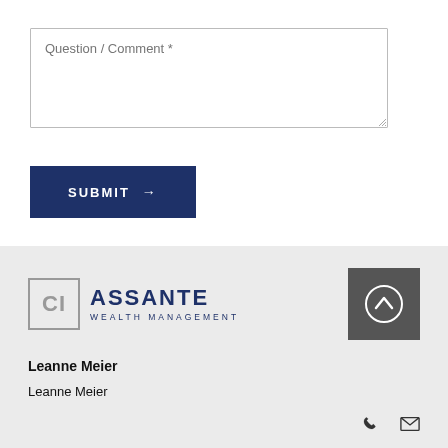Question / Comment *
SUBMIT →
[Figure (logo): CI Assante Wealth Management logo]
[Figure (other): Dark gray scroll-to-top button with upward chevron icon]
Leanne Meier
Leanne Meier